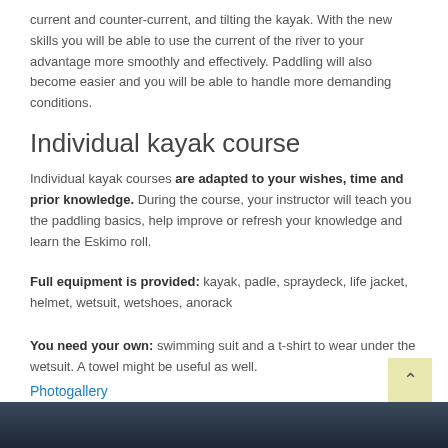current and counter-current, and tilting the kayak. With the new skills you will be able to use the current of the river to your advantage more smoothly and effectively. Paddling will also become easier and you will be able to handle more demanding conditions.
Individual kayak course
Individual kayak courses are adapted to your wishes, time and prior knowledge. During the course, your instructor will teach you the paddling basics, help improve or refresh your knowledge and learn the Eskimo roll.
Full equipment is provided: kayak, padle, spraydeck, life jacket, helmet, wetsuit, wetshoes, anorack
You need your own: swimming suit and a t-shirt to wear under the wetsuit. A towel might be useful as well.
Photogallery